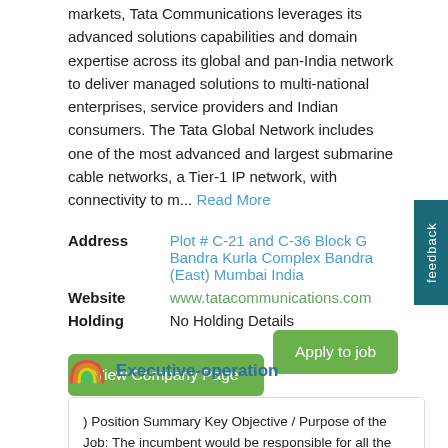markets, Tata Communications leverages its advanced solutions capabilities and domain expertise across its global and pan-India network to deliver managed solutions to multi-national enterprises, service providers and Indian consumers. The Tata Global Network includes one of the most advanced and largest submarine cable networks, a Tier-1 IP network, with connectivity to m... Read More
| Field | Value |
| --- | --- |
| Address | Plot # C-21 and C-36 Block G Bandra Kurla Complex Bandra (East) Mumbai India |
| Website | www.tatacommunications.com |
| Holding | No Holding Details |
View Company Page
Apply to job
Executive-operation
) Position Summary Key Objective / Purpose of the Job: The incumbent would be responsible for all the Field Services related processes and service delivery. b) Major